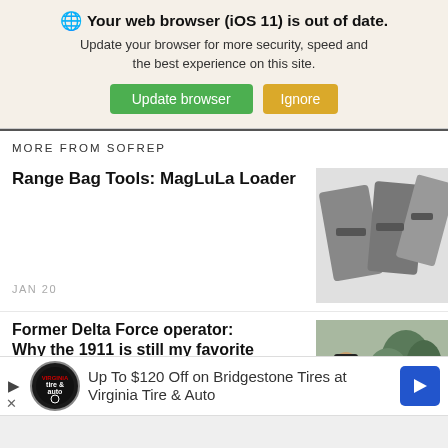Your web browser (iOS 11) is out of date. Update your browser for more security, speed and the best experience on this site. Update browser | Ignore
MORE FROM SOFREP
Range Bag Tools: MagLuLa Loader
JAN 20
[Figure (photo): Photo of MagLuLa magazine loaders, metal firearms accessories on white background]
Former Delta Force operator: Why the 1911 is still my favorite sidearm
[Figure (photo): Photo of a man in black cap aiming a handgun outdoors with trees in background]
[Figure (infographic): Advertisement banner: Up To $120 Off on Bridgestone Tires at Virginia Tire & Auto, with tire & auto logo and blue arrow icon]